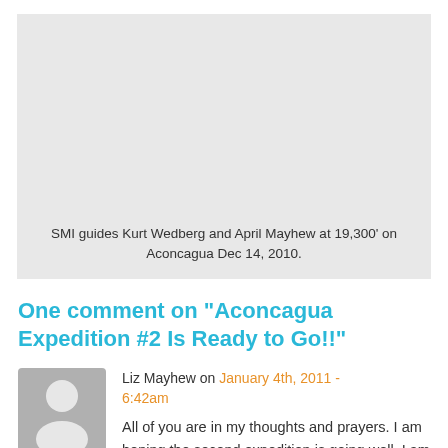[Figure (photo): Gray placeholder image area for a photo of SMI guides Kurt Wedberg and April Mayhew at 19,300 feet on Aconcagua]
SMI guides Kurt Wedberg and April Mayhew at 19,300' on Aconcagua Dec 14, 2010.
One comment on "Aconcagua Expedition #2 Is Ready to Go!!"
[Figure (photo): Gray avatar/placeholder silhouette image for commenter Liz Mayhew]
Liz Mayhew on January 4th, 2011 - 6:42am
All of you are in my thoughts and prayers. I am hoping the second expedition is going well. I am looking